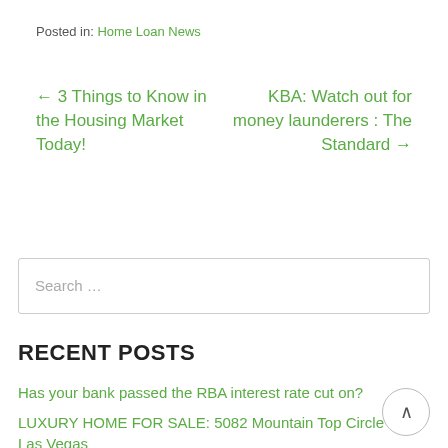Posted in: Home Loan News
← 3 Things to Know in the Housing Market Today!
KBA: Watch out for money launderers : The Standard →
Search …
RECENT POSTS
Has your bank passed the RBA interest rate cut on?
LUXURY HOME FOR SALE: 5082 Mountain Top Circle Las Vegas